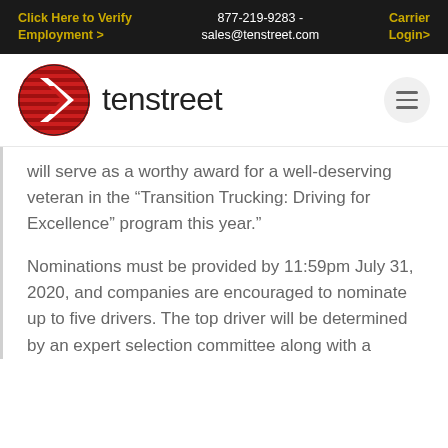Click Here to Verify Employment >   877-219-9283 - sales@tenstreet.com   Carrier Login>
[Figure (logo): Tenstreet logo — red circle with horizontal stripes and white chevron arrow, with 'tenstreet' text to the right]
will serve as a worthy award for a well-deserving veteran in the “Transition Trucking: Driving for Excellence” program this year.”
Nominations must be provided by 11:59pm July 31, 2020, and companies are encouraged to nominate up to five drivers. The top driver will be determined by an expert selection committee along with a